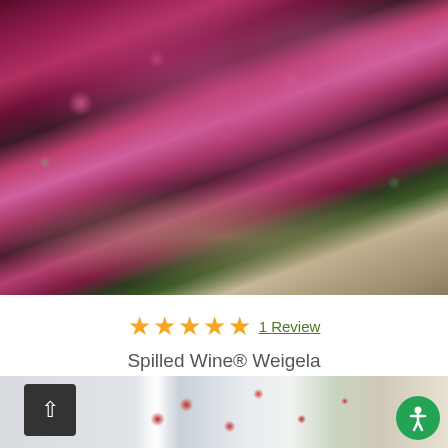[Figure (photo): Dense flowering shrub (Spilled Wine Weigela) covered in masses of deep pink/magenta blooms with dark foliage, photographed against a mulched ground.]
★★★★★ 1 Review
Spilled Wine® Weigela
Zones: 4-8
As low as $54.59
[Figure (photo): Partial view of another flowering plant with red blooms, partially cut off at bottom of page. Includes a scroll-up button and accessibility icon.]